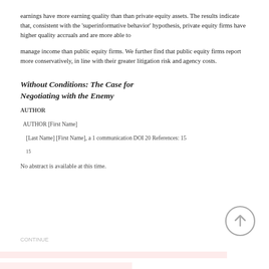earnings have more earning quality than than private equity assets. The results indicate that, consistent with the 'superinformative behavior' hypothesis, private equity firms have higher quality accruals and are more able to manage income than public equity firms. We further find that public equity firms report more conservatively, in line with their greater litigation risk and agency costs.
Without Conditions: The Case for Negotiating with the Enemy
AUTHOR
AUTHOR [First Name]
[Last Name] [First Name], a 1 communication DOI 20 References: 15
No abstract is available at this time.